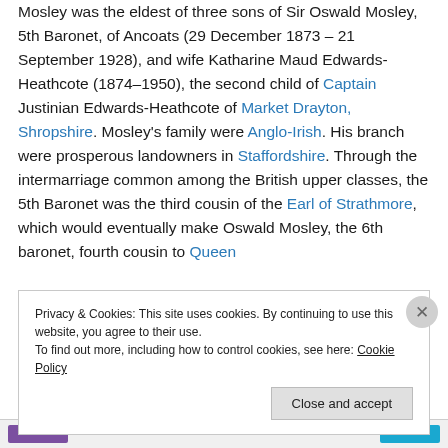Mosley was the eldest of three sons of Sir Oswald Mosley, 5th Baronet, of Ancoats (29 December 1873 – 21 September 1928), and wife Katharine Maud Edwards-Heathcote (1874–1950), the second child of Captain Justinian Edwards-Heathcote of Market Drayton, Shropshire. Mosley's family were Anglo-Irish. His branch were prosperous landowners in Staffordshire. Through the intermarriage common among the British upper classes, the 5th Baronet was the third cousin of the Earl of Strathmore, which would eventually make Oswald Mosley, the 6th baronet, fourth cousin to Queen
Privacy & Cookies: This site uses cookies. By continuing to use this website, you agree to their use.
To find out more, including how to control cookies, see here: Cookie Policy
Close and accept